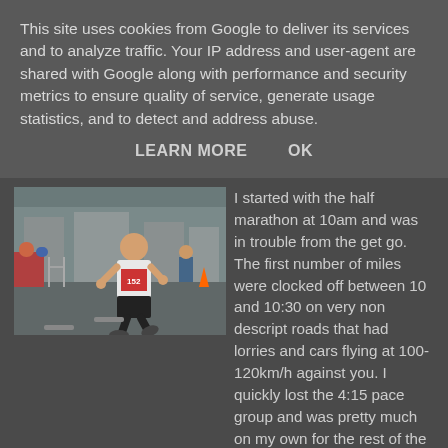This site uses cookies from Google to deliver its services and to analyze traffic. Your IP address and user-agent are shared with Google along with performance and security metrics to ensure quality of service, generate usage statistics, and to detect and address abuse.
LEARN MORE    OK
[Figure (photo): A runner in a white t-shirt and black shorts with a race bib number 152 running on a road, with spectators and buildings visible in the background.]
I started with the half marathon at 10am and was in trouble from the get go. The first number of miles were clocked off between 10 and 10:30 on very non descript roads that had lorries and cars flying at 100-120km/h against you. I quickly lost the 4:15 pace group and was pretty much on my own for the rest of the day. Once the half marathoners passed me and diverted onto their own course it got very quiet. I had no gels with me and with only water on the aid stations I did run a little short of energy